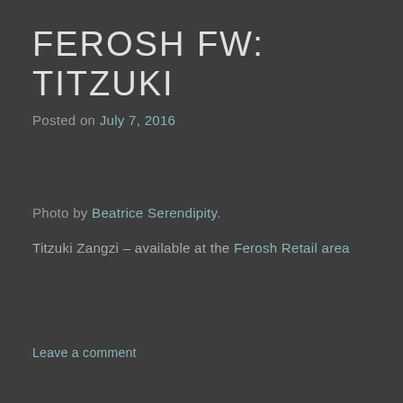FEROSH FW: TITZUKI
Posted on July 7, 2016
Photo by Beatrice Serendipity.
Titzuki Zangzi – available at the Ferosh Retail area
Leave a comment
FT. BOMSHIE, PURE POISON, LETITUIER